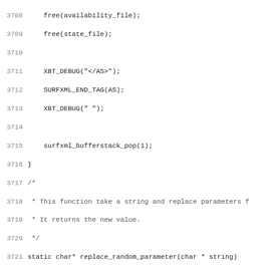Source code listing, lines 3708-3740, C programming language